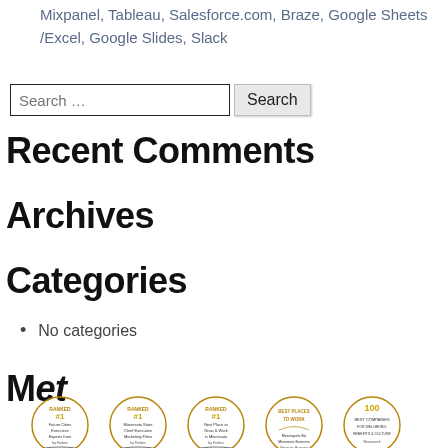Mixpanel, Tableau, Salesforce.com, Braze, Google Sheets/Excel, Google Slides, Slack
[Figure (other): Search bar with text input field labeled 'Search ...' and a 'Search' button]
Recent Comments
Archives
Categories
No categories
M...
[Figure (other): Row of five circular award/badge logos at the bottom of the page]